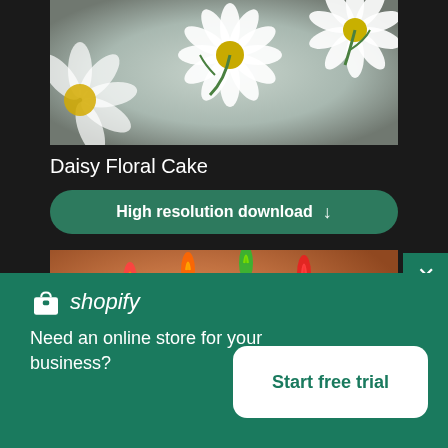[Figure (photo): Close-up photo of a cake decorated with white daisy flowers with yellow centers on a pale grey-green background, partially visible at top of page]
Daisy Floral Cake
High resolution download ↓
[Figure (photo): Photo of colorful birthday candles (yellow, orange, green, red) on a white cake with warm brown blurred background]
[Figure (logo): Shopify logo with shopping bag icon and italic 'shopify' text in white on green background]
Need an online store for your business?
Start free trial